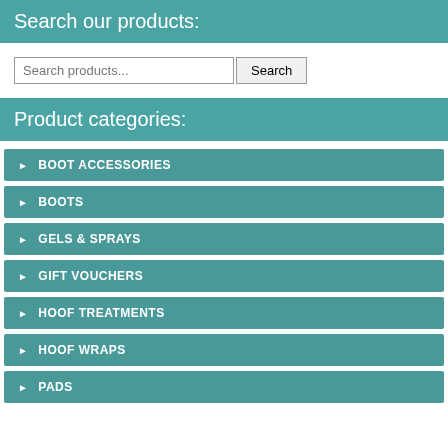Search our products:
Search products... Search
Product categories:
BOOT ACCESSORIES
BOOTS
GELS & SPRAYS
GIFT VOUCHERS
HOOF TREATMENTS
HOOF WRAPS
PADS